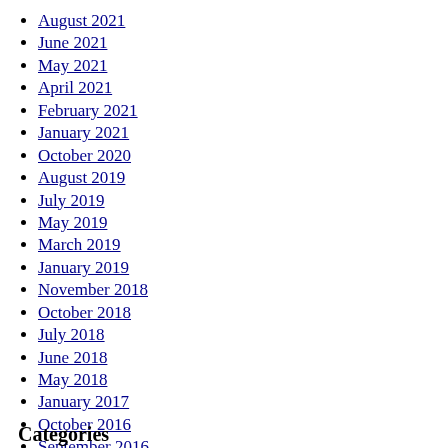August 2021
June 2021
May 2021
April 2021
February 2021
January 2021
October 2020
August 2019
July 2019
May 2019
March 2019
January 2019
November 2018
October 2018
July 2018
June 2018
May 2018
January 2017
October 2016
September 2016
June 2014
April 2014
Categories